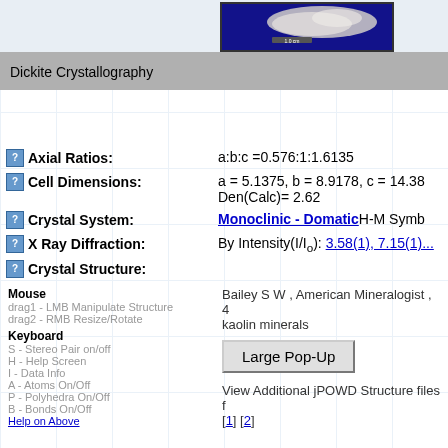[Figure (photo): Mineral specimen photo of Dickite with scale bar showing 1.0 cm, dark blue background]
Dickite Crystallography
| Property | Value |
| --- | --- |
| Axial Ratios: | a:b:c =0.576:1:1.6135 |
| Cell Dimensions: | a = 5.1375, b = 8.9178, c = 14.38
Den(Calc)= 2.62 |
| Crystal System: | Monoclinic - Domatic H-M Symb... |
| X Ray Diffraction: | By Intensity(I/Io): 3.58(1), 7.15(1)... |
| Crystal Structure: | Bailey S W , American Mineralogist , 4... kaolin minerals |
Mouse
drag1 - LMB Manipulate Structure
drag2 - RMB Resize/Rotate
Keyboard
S - Stereo Pair on/off
H - Help Screen
I - Data Info
A - Atoms On/Off
P - Polyhedra On/Off
B - Bonds On/Off
Help on Above
Large Pop-Up
View Additional jPOWD Structure files f...
[1] [2]
Physical Properties of Dickite
| Property | Value |
| --- | --- |
| Cleavage: | {001} Perfect |